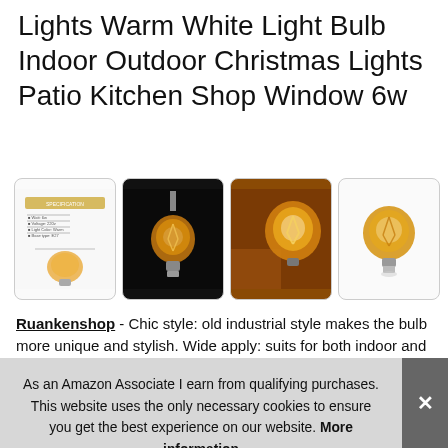Lights Warm White Light Bulb Indoor Outdoor Christmas Lights Patio Kitchen Shop Window 6w
[Figure (photo): Four product thumbnail images of vintage Edison-style light bulbs in amber/gold tones. First shows a spec sheet with a bulb diagram. Second shows a bulb hanging against a dark background. Third shows a close-up of a glowing filament bulb. Fourth shows a standalone globe bulb against a white background.]
Ruankenshop - Chic style: old industrial style makes the bulb more unique and stylish. Wide apply: suits for both indoor and outd... pen...
As an Amazon Associate I earn from qualifying purchases. This website uses the only necessary cookies to ensure you get the best experience on our website. More information
Energy saving: Brighter and more stable, reducing replacement